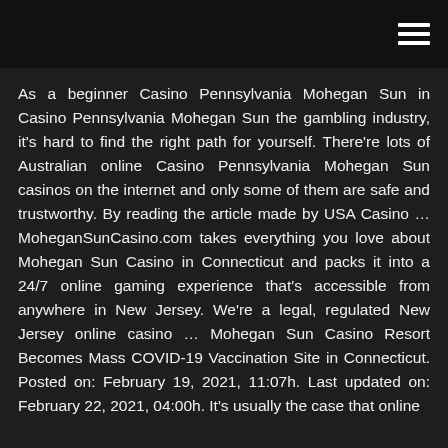As a beginner Casino Pennsylvania Mohegan Sun in Casino Pennsylvania Mohegan Sun the gambling industry, it's hard to find the right path for yourself. There're lots of Australian online Casino Pennsylvania Mohegan Sun casinos on the internet and only some of them are safe and trustworthy. By reading the article made by USA Casino … MoheganSunCasino.com takes everything you love about Mohegan Sun Casino in Connecticut and packs it into a 24/7 online gaming experience that's accessible from anywhere in New Jersey. We're a legal, regulated New Jersey online casino … Mohegan Sun Casino Resort Becomes Mass COVID-19 Vaccination Site in Connecticut. Posted on: February 19, 2021, 11:07h. Last updated on: February 22, 2021, 04:00h. It's usually the case that online